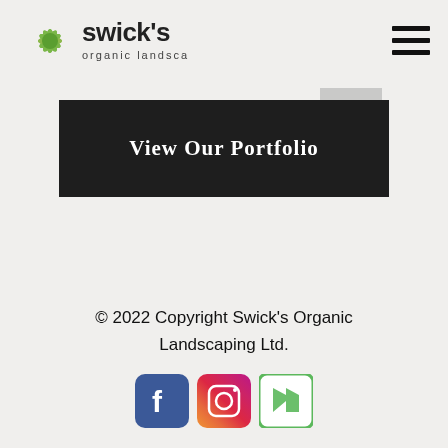[Figure (logo): Swick's Organic Landscaping logo with plant/sunburst icon on the left and stylized text 'swick's organic landscaping' on the right]
[Figure (other): Hamburger menu icon (three horizontal lines) in top right corner]
[Figure (other): Dark gray rectangle button labeled 'View Our Portfolio' with a small gray shape partially behind it]
© 2022 Copyright Swick's Organic Landscaping Ltd.
[Figure (other): Three social media icons: Facebook (blue rounded square), Instagram (gradient rounded square), and Houzz (green-bordered white square with arrow icon)]